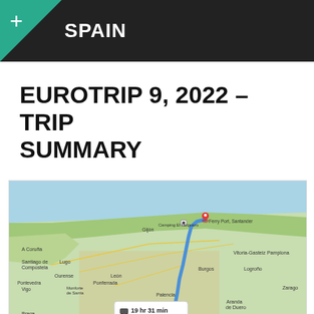SPAIN
EUROTRIP 9, 2022 – TRIP SUMMARY
[Figure (map): Google Maps route map showing northern Spain with a blue route line from south to north ending at Santander ferry port. Shows cities: A Coruña, Santiago de Compostela, Pontevedra, Vigo, Braga, Porto, Lugo, Ourense, Monforte de Sarria, Ponferrada, León, Palencia, Astorga, Gijón, Camping El Helguero, Ferry Port Santander, Vitoria-Gasteiz, Logroño, Pamplona, Burgos, Aranda de Duero, Zaragoza. Route tooltip: 19 hr 31 min, 351 miles.]